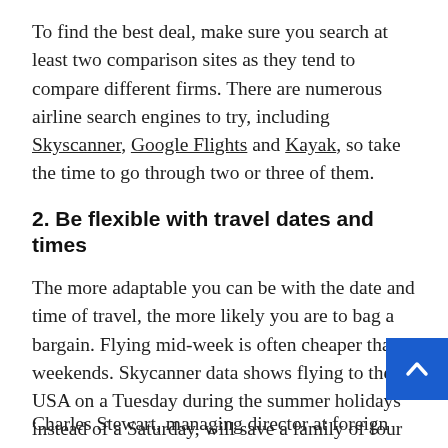To find the best deal, make sure you search at least two comparison sites as they tend to compare different firms. There are numerous airline search engines to try, including Skyscanner, Google Flights and Kayak, so take the time to go through two or three of them.
2. Be flexible with travel dates and times
The more adaptable you can be with the date and time of travel, the more likely you are to bag a bargain. Flying mid-week is often cheaper than weekends. Skycanner data shows flying to the USA on a Tuesday during the summer holidays instead of a Saturday, will save a family of four an average £380. Check whether you could also save by flying early in the morning or late at night.
Charles Stewart, managing director at foreign